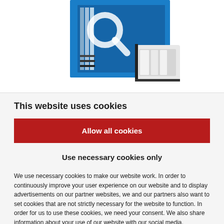[Figure (photo): Product photo of a blue PVC/aluminium window frame cross-section showing triple glazing with a magnifying glass icon overlay]
This website uses cookies
Allow all cookies
Use necessary cookies only
We use necessary cookies to make our website work. In order to continuously improve your user experience on our website and to display advertisements on our partner websites, we and our partners also want to set cookies that are not strictly necessary for the website to function. In order for us to use these cookies, we need your consent. We also share information about your use of our website with our social media, advertising and analytics partners. Our partners may combine this